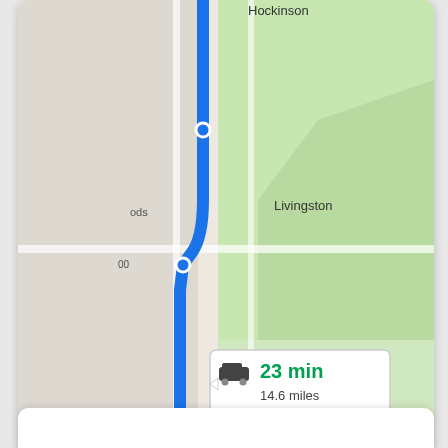[Figure (map): Google Maps screenshot showing a driving route (blue line) from Hockinson area through Mill Plain toward Fisher's Landing East in Washington state. A route info popup shows '23 min' in green and '14.6 miles'. Map labels include Livingston, Mill Plain, Fern Prairie, Fisher's Landing East, Camas. Zoom controls (+/-) visible on right. Satellite view thumbnail in bottom left. Map data copyright 2022 Google with Terms of Use link.]